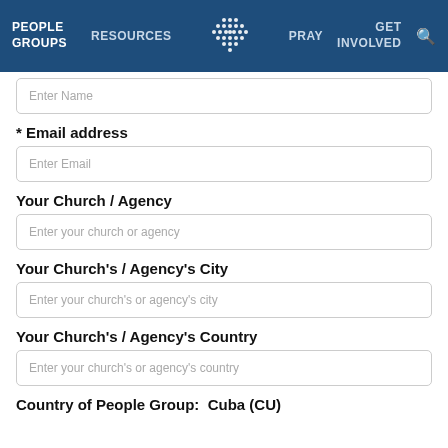PEOPLE GROUPS  RESOURCES  PRAY  GET INVOLVED
Enter Name
* Email address
Enter Email
Your Church / Agency
Enter your church or agency
Your Church's / Agency's City
Enter your church's or agency's city
Your Church's / Agency's Country
Enter your church's or agency's country
Country of People Group:  Cuba (CU)